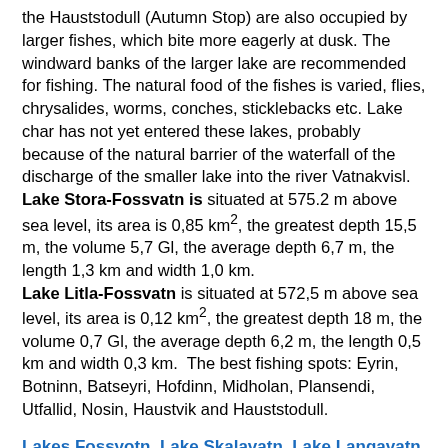the Hauststodull (Autumn Stop) are also occupied by larger fishes, which bite more eagerly at dusk. The windward banks of the larger lake are recommended for fishing. The natural food of the fishes is varied, flies, chrysalides, worms, conches, sticklebacks etc. Lake char has not yet entered these lakes, probably because of the natural barrier of the waterfall of the discharge of the smaller lake into the river Vatnakvisl. Lake Stora-Fossvatn is situated at 575.2 m above sea level, its area is 0,85 km², the greatest depth 15,5 m, the volume 5,7 Gl, the average depth 6,7 m, the length 1,3 km and width 1,0 km. Lake Litla-Fossvatn is situated at 572,5 m above sea level, its area is 0,12 km², the greatest depth 18 m, the volume 0,7 Gl, the average depth 6,2 m, the length 0,5 km and width 0,3 km. The best fishing spots: Eyrin, Botninn, Batseyri, Hofdinn, Midholan, Plansendi, Utfallid, Nosin, Haustvik and Hauststodull.
Lakes Fossvotn, Lake Skalavatn, Lake Langavatn in Icelandic